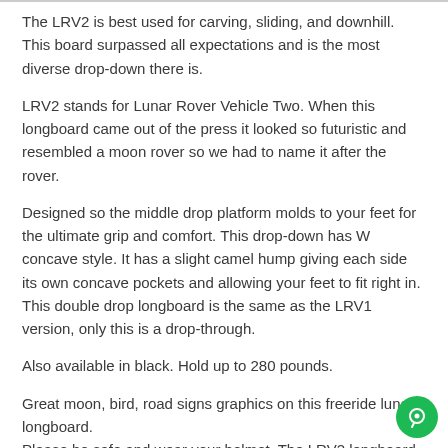The LRV2 is best used for carving, sliding, and downhill. This board surpassed all expectations and is the most diverse drop-down there is.
LRV2 stands for Lunar Rover Vehicle Two. When this longboard came out of the press it looked so futuristic and resembled a moon rover so we had to name it after the rover.
Designed so the middle drop platform molds to your feet for the ultimate grip and comfort. This drop-down has W concave style. It has a slight camel hump giving each side its own concave pockets and allowing your feet to fit right in. This double drop longboard is the same as the LRV1 version, only this is a drop-through.
Also available in black. Hold up to 280 pounds.
Great moon, bird, road signs graphics on this freeride lunar longboard.
Please be safe and wear your helmet. The LRV2 longboard is Made in the USA.